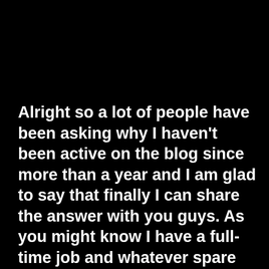Alright so a lot of people have been asking why I haven't been active on the blog since more than a year and I am glad to say that finally I can share the answer with you guys. As you might know I have a full-time job and whatever spare time I got was being used for my book which is coming out by the end of this month! So I thank all of you who have been posting comments and sharing ideas all this while and I have made sure I replied to your comments and suggestions even if I couldn't always...